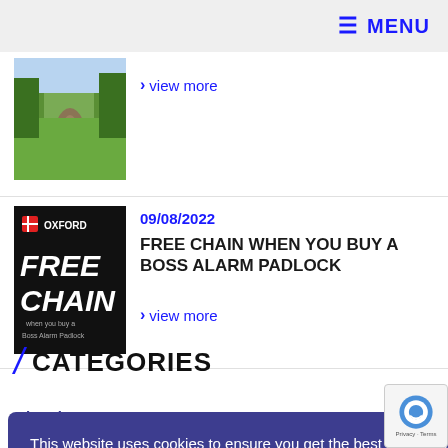≡ MENU
› view more
09/08/2022
FREE CHAIN WHEN YOU BUY A BOSS ALARM PADLOCK
› view more
/ CATEGORIES
[Figure (screenshot): Cookie consent banner with text: This website uses cookies to ensure you get the best experience on our website. Learn more. Got it! button.]
Electric (13)
Events (3)
Honda (79)